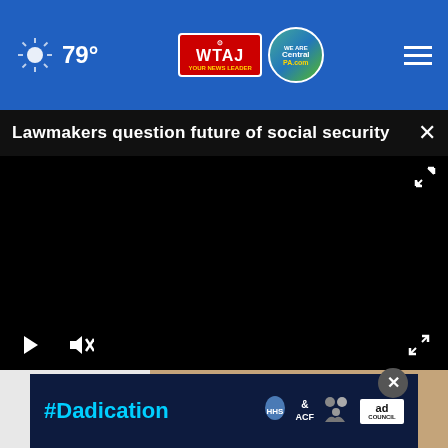79° WTAJ CentralPA.com
Lawmakers question future of social security
[Figure (screenshot): Black video player with play and mute controls at bottom left, fullscreen icon at bottom right and top right]
[Figure (photo): Partial view of a person's head and shoulders]
[Figure (other): #Dadication advertisement banner with HHS, ACF, and Ad Council logos]